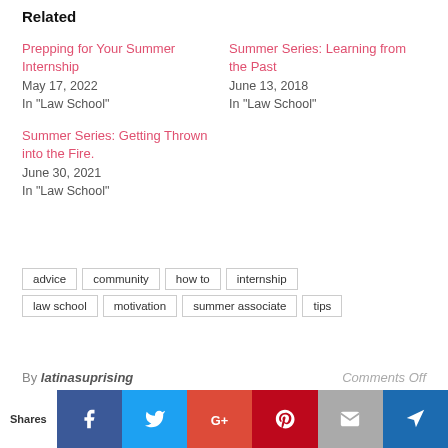Related
Prepping for Your Summer Internship
May 17, 2022
In "Law School"
Summer Series: Learning from the Past
June 13, 2018
In "Law School"
Summer Series: Getting Thrown into the Fire.
June 30, 2021
In "Law School"
advice
community
how to
internship
law school
motivation
summer associate
tips
By latinasuprising
Comments Off
SEARCH
Shares